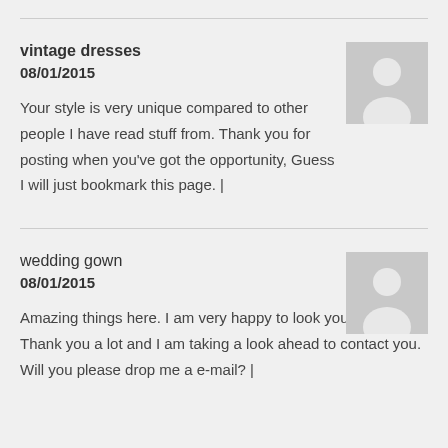vintage dresses
08/01/2015
Your style is very unique compared to other people I have read stuff from. Thank you for posting when you've got the opportunity, Guess I will just bookmark this page. |
[Figure (illustration): Avatar placeholder image with person silhouette on gray background]
wedding gown
08/01/2015
Amazing things here. I am very happy to look your article. Thank you a lot and I am taking a look ahead to contact you. Will you please drop me a e-mail? |
[Figure (illustration): Avatar placeholder image with person silhouette on gray background]